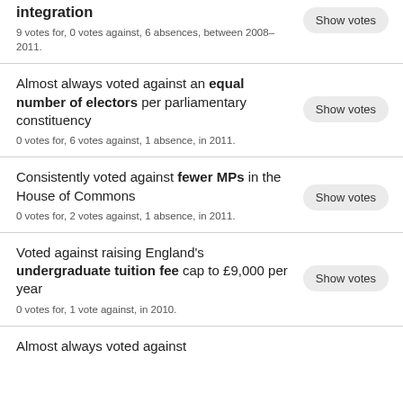integration
9 votes for, 0 votes against, 6 absences, between 2008–2011.
Almost always voted against an equal number of electors per parliamentary constituency
0 votes for, 6 votes against, 1 absence, in 2011.
Consistently voted against fewer MPs in the House of Commons
0 votes for, 2 votes against, 1 absence, in 2011.
Voted against raising England's undergraduate tuition fee cap to £9,000 per year
0 votes for, 1 vote against, in 2010.
Almost always voted against